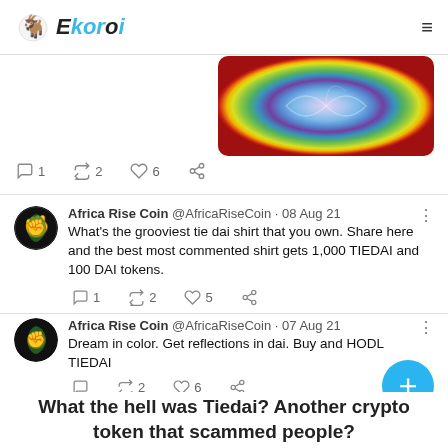Ekoroi
[Figure (photo): Colorful tie-dye fabric with rainbow spiral pattern in red, yellow, green, blue, purple colors]
1  2  6
Africa Rise Coin @AfricaRiseCoin · 08 Aug 21
What's the grooviest tie dai shirt that you own. Share here and the best most commented shirt gets 1,000 TIEDAI and 100 DAI tokens.
1  2  5
Africa Rise Coin @AfricaRiseCoin · 07 Aug 21
Dream in color. Get reflections in dai. Buy and HODL TIEDAI
2  6
What the hell was Tiedai? Another crypto token that scammed people?